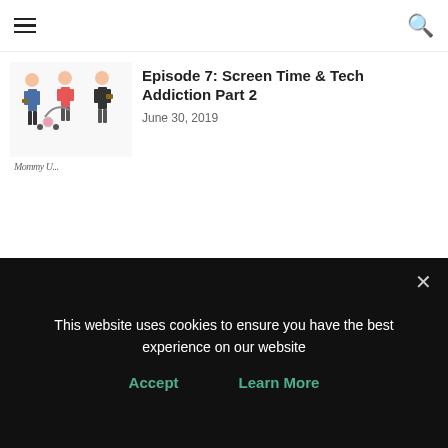Episode 7: Screen Time & Tech Addiction Part 2
June 30, 2019
PINTEREST TIPS AND INSPIRATION
[Figure (illustration): Three Pinterest pin cards showing executive functioning skills content]
This website uses cookies to ensure you have the best experience on our website
Accept    Learn More